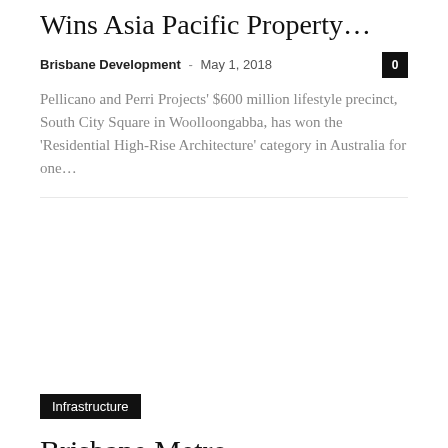Wins Asia Pacific Property…
Brisbane Development – May 1, 2018
Pellicano and Perri Projects' $600 million lifestyle precinct, South City Square in Woolloongabba, has won the 'Residential High-Rise Architecture' category in Australia for one…
Infrastructure
Brisbane Metro Deconstructed: A Summary of the Draft Design Report
Brisbane Development – April 29, 2018
The Brisbane City Council has introduced the Draft Design Report…